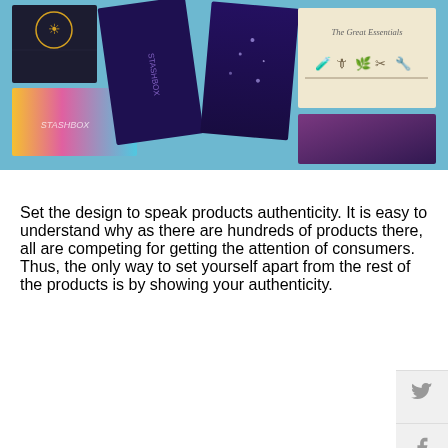[Figure (photo): Photo of multiple colorful subscription/gift boxes arranged on a light blue background. Boxes include dark mystical-themed boxes, a pink/yellow/teal gradient box labeled STASHBOX, a dark purple starry box, and a cream-colored box labeled 'The Great Essentials' with illustrated icons.]
Set the design to speak products authenticity. It is easy to understand why as there are hundreds of products there, all are competing for getting the attention of consumers. Thus, the only way to set yourself apart from the rest of the products is by showing your authenticity.